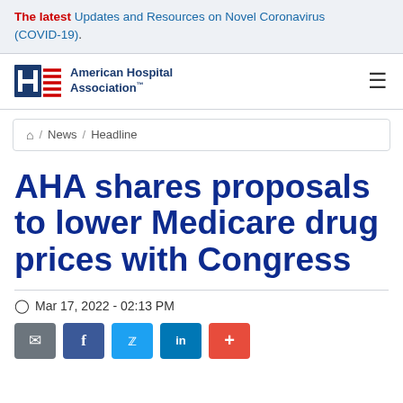The latest Updates and Resources on Novel Coronavirus (COVID-19).
[Figure (logo): American Hospital Association logo with H symbol and American flag stripes]
/ News / Headline
AHA shares proposals to lower Medicare drug prices with Congress
Mar 17, 2022 - 02:13 PM